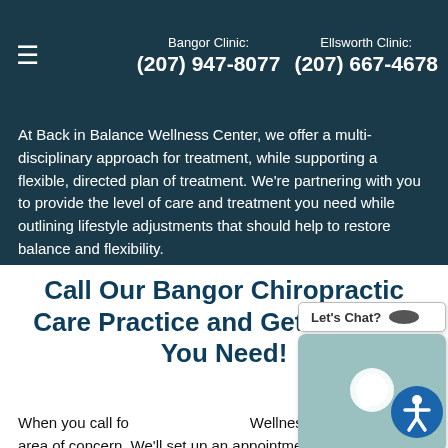Bangor Clinic: (207) 947-8077   Ellsworth Clinic: (207) 667-4678
At Back in Balance Wellness Center, we offer a multi-disciplinary approach for treatment, while supporting a flexible, directed plan of treatment. We're partnering with you to provide the level of care and treatment you need while outlining lifestyle adjustments that should help to restore balance and flexibility.
Call Our Bangor Chiropractic Care Practice and Get the Care You Need!
When you call for Back in Balance Wellness Center, your area of concern. We'll set up an appointment for you to come in to discuss your situation. As an integrated clinic, we're able to offer the directed, multi-disciplinary approach that's tailored to your specific health and
[Figure (screenshot): Live chat widget popup showing 'Let's Chat?' button and a teal-colored chat panel with a chat bubble icon]